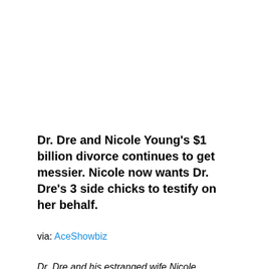Dr. Dre and Nicole Young's $1 billion divorce continues to get messier. Nicole now wants Dr. Dre's 3 side chicks to testify on her behalf.
via: AceShowbiz
Dr. Dre and his estranged wife Nicole Young's legal battle continues to get messier...